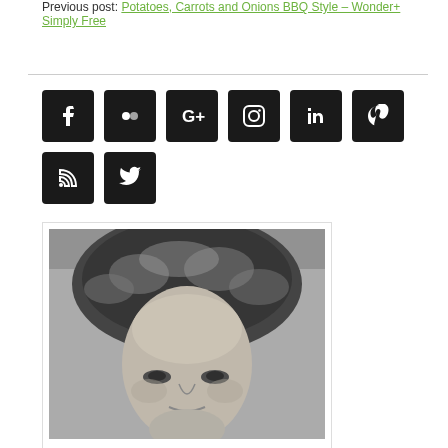Previous post: Potatoes, Carrots and Onions BBQ Style – Wonder+ Simply Free
[Figure (photo): Black and white close-up portrait photo of a woman with curly hair]
[Figure (infographic): Row of social media icon buttons: Facebook, Flickr, Google+, Instagram, LinkedIn, Pinterest, RSS, Twitter — dark square icons with white symbols]